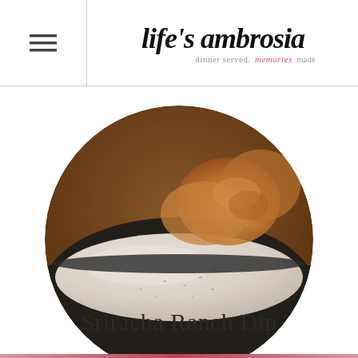life's ambrosia — dinner served. memories made.
[Figure (photo): Circular cropped photo of a black bowl containing creamy white Sriracha Ranch Dip with herb flecks, with crispy golden finger foods blurred in the background.]
Sriracha Ranch Dip